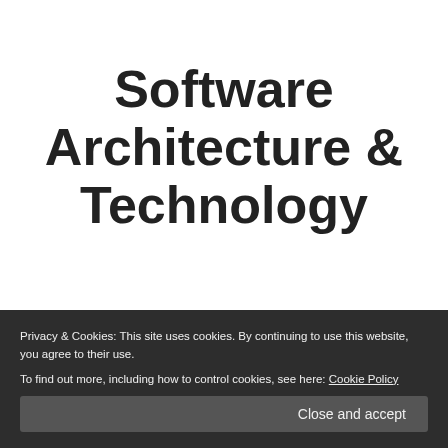Software Architecture & Technology
Tag: Architecture
Privacy & Cookies: This site uses cookies. By continuing to use this website, you agree to their use.
To find out more, including how to control cookies, see here: Cookie Policy
Close and accept
Follow